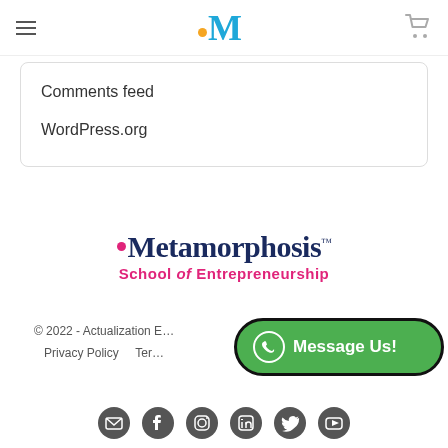Metamorphosis School of Entrepreneurship – header navigation
Comments feed
WordPress.org
[Figure (logo): Metamorphosis School of Entrepreneurship logo with pink dot and dark blue serif text]
© 2022 - Actualization E…
Privacy Policy   Terms…
[Figure (infographic): WhatsApp Message Us! green button with black border overlay]
[Figure (infographic): Social media icon row: email, facebook, instagram, linkedin, twitter, youtube]